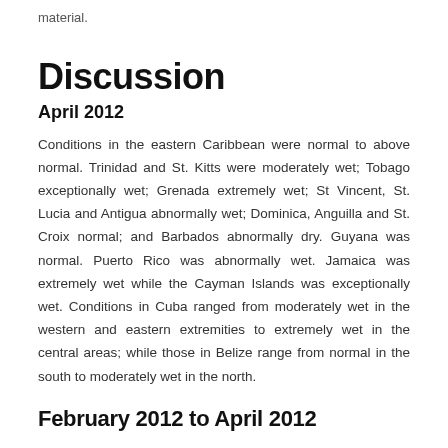material.
Discussion
April 2012
Conditions in the eastern Caribbean were normal to above normal. Trinidad and St. Kitts were moderately wet; Tobago exceptionally wet; Grenada extremely wet; St Vincent, St. Lucia and Antigua abnormally wet; Dominica, Anguilla and St. Croix normal; and Barbados abnormally dry. Guyana was normal. Puerto Rico was abnormally wet. Jamaica was extremely wet while the Cayman Islands was exceptionally wet. Conditions in Cuba ranged from moderately wet in the western and eastern extremities to extremely wet in the central areas; while those in Belize range from normal in the south to moderately wet in the north.
February 2012 to April 2012